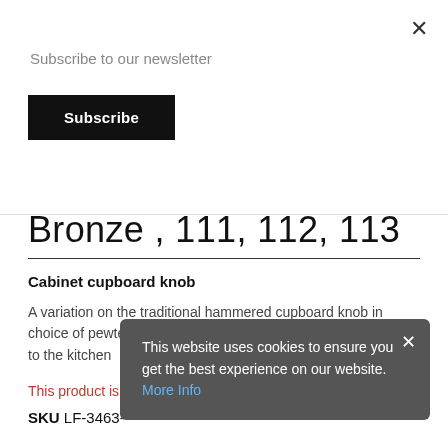Subscribe to our newsletter
Subscribe
Bronze , 111, 112, 113
Cabinet cupboard knob
A variation on the traditional hammered cupboard knob in choice of pewter, bronze or black finish to give a beautiful finish to the kitchen
This product is currently out of stock and unavailable.
SKU LF-3463-
This website uses cookies to ensure you get the best experience on our website. More Info